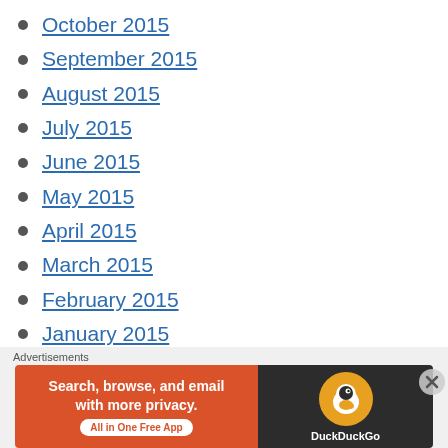October 2015
September 2015
August 2015
July 2015
June 2015
May 2015
April 2015
March 2015
February 2015
January 2015
December 2014
November 2014
October 2014
September 2014
Advertisements
[Figure (screenshot): DuckDuckGo advertisement banner: orange left panel with text 'Search, browse, and email with more privacy. All in One Free App', dark right panel with DuckDuckGo duck logo.]